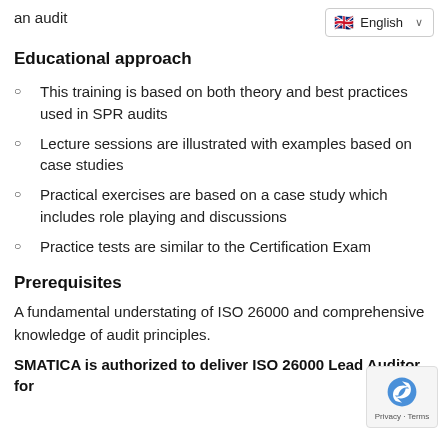an audit
[Figure (other): Language selector dropdown showing English with UK flag]
Educational approach
This training is based on both theory and best practices used in SPR audits
Lecture sessions are illustrated with examples based on case studies
Practical exercises are based on a case study which includes role playing and discussions
Practice tests are similar to the Certification Exam
Prerequisites
A fundamental understating of ISO 26000 and comprehensive knowledge of audit principles.
SMATICA is authorized to deliver ISO 26000 Lead Auditor  for